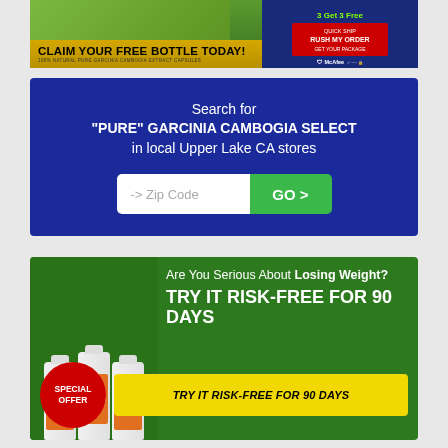[Figure (infographic): Top advertisement banner for Garcinia Cambogia with 'Claim Your Free Bottle Today!' text, '3 Get 3 Free' offer, 'Rush My Order' button, and McAfee security badge]
[Figure (infographic): Blue search banner: Search for PURE GARCINIA CAMBOGIA SELECT in local Upper Lake CA stores with zip code input and GO button]
[Figure (infographic): Green advertisement banner for Garcinia Cambogia Select: Are You Serious About Losing Weight? TRY IT RISK-FREE FOR 90 DAYS with Special Offer badge and yellow button]